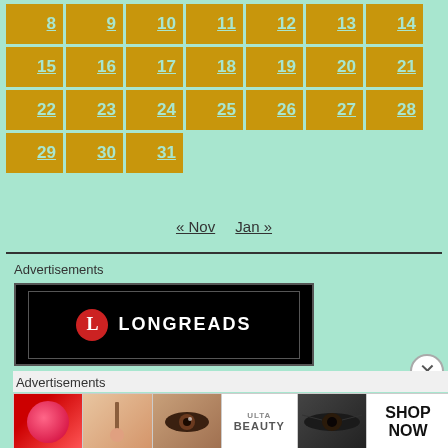[Figure (other): Calendar grid showing days 8-31 with golden/amber colored cells and teal text links on mint green background]
« Nov   Jan »
[Figure (other): Advertisements label and Longreads advertisement banner with black background and red circular L logo]
Advertisements
[Figure (other): Bottom advertisement strip for Ulta Beauty with makeup product images including lips, brush, eye, Ulta logo, eyes, Shop Now text]